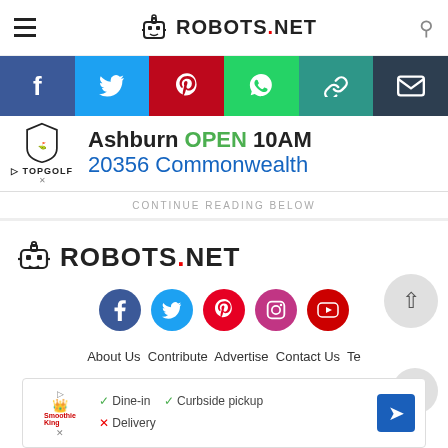ROBOTS.NET
[Figure (screenshot): Social share bar with Facebook, Twitter, Pinterest, WhatsApp, Copy Link, and Email icons]
[Figure (screenshot): Topgolf advertisement banner showing Ashburn OPEN 10AM and 20356 Commonwealth]
CONTINUE READING BELOW
[Figure (logo): ROBOTS.NET logo in footer]
[Figure (screenshot): Social media circles: Facebook, Twitter, Pinterest, Instagram, YouTube]
About Us  Contribute  Advertise  Contact Us  Te  Privacy Policy  Affiliate Disclosure  DMCA
[Figure (screenshot): Smoothie King advertisement with Dine-in checkmark, Curbside pickup checkmark, Delivery X mark]